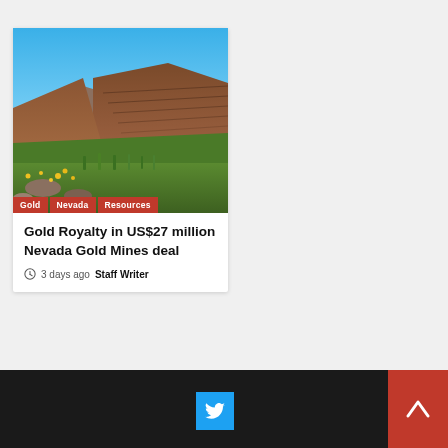[Figure (photo): Aerial photo of an open-pit gold mine in Nevada with terraced hillsides, green grass, yellow wildflowers in foreground, and blue sky above. Tags overlay at bottom: Gold, Nevada, Resources.]
Gold Royalty in US$27 million Nevada Gold Mines deal
3 days ago  Staff Writer
Twitter  ▲